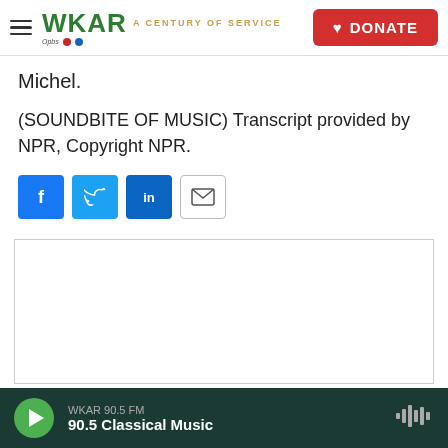WKAR A CENTURY OF SERVICE | DONATE
Michel.
(SOUNDBITE OF MUSIC) Transcript provided by NPR, Copyright NPR.
[Figure (other): Social sharing buttons: Facebook (f), Twitter (bird), LinkedIn (in), Email (envelope icon)]
[Figure (other): Empty white content/advertisement box with border]
WKAR 90.5 FM | 90.5 Classical Music